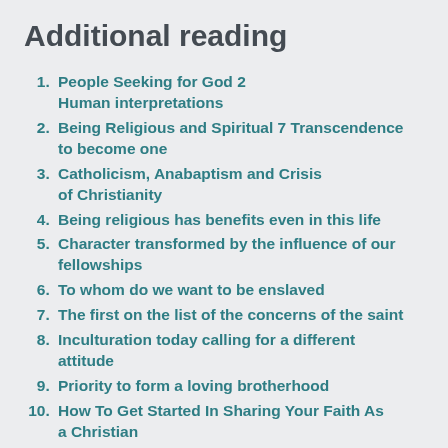Additional reading
People Seeking for God 2 Human interpretations
Being Religious and Spiritual 7 Transcendence to become one
Catholicism, Anabaptism and Crisis of Christianity
Being religious has benefits even in this life
Character transformed by the influence of our fellowships
To whom do we want to be enslaved
The first on the list of the concerns of the saint
Inculturation today calling for a different attitude
Priority to form a loving brotherhood
How To Get Started In Sharing Your Faith As a Christian
Preachers should know and continue the task